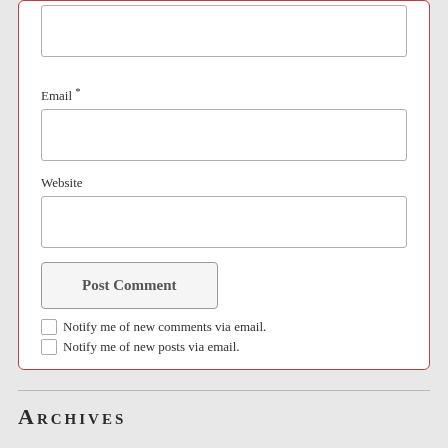[text input field - name/top]
Email *
[email input field]
Website
[website input field]
Post Comment
Notify me of new comments via email.
Notify me of new posts via email.
Archives